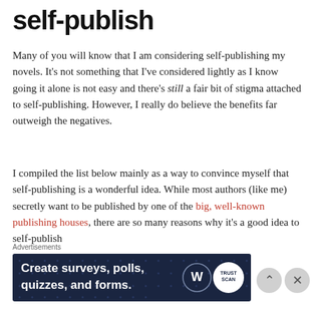self-publish
Many of you will know that I am considering self-publishing my novels. It’s not something that I’ve considered lightly as I know going it alone is not easy and there’s still a fair bit of stigma attached to self-publishing. However, I really do believe the benefits far outweigh the negatives.
I compiled the list below mainly as a way to convince myself that self-publishing is a wonderful idea. While most authors (like me) secretly want to be published by one of the big, well-known publishing houses, there are so many reasons why it’s a good idea to self-publish
Advertisements
[Figure (other): Advertisement banner: dark navy background with dot pattern. Text reads 'Create surveys, polls, quizzes, and forms.' WordPress logo and a badge on the right.]